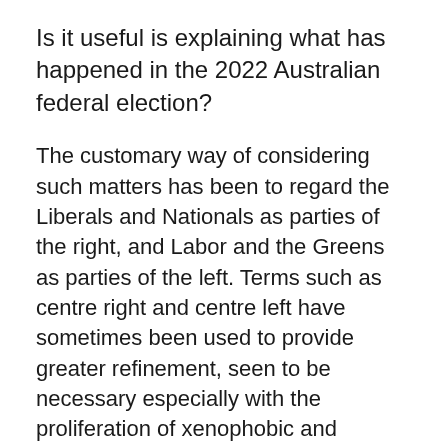Is it useful is explaining what has happened in the 2022 Australian federal election?
The customary way of considering such matters has been to regard the Liberals and Nationals as parties of the right, and Labor and the Greens as parties of the left. Terms such as centre right and centre left have sometimes been used to provide greater refinement, seen to be necessary especially with the proliferation of xenophobic and extreme parties further to the right in many countries. The term "centre party" has sometimes been used for small centrist